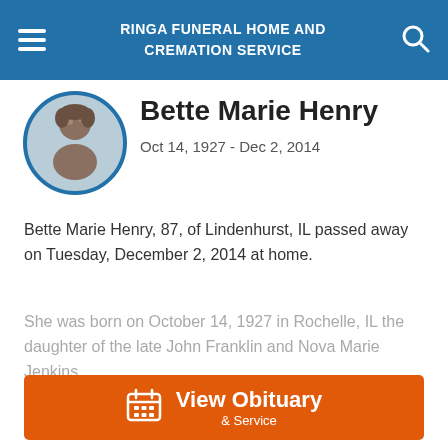RINGA FUNERAL HOME AND CREMATION SERVICE
[Figure (photo): Circular portrait photo of Bette Marie Henry, an elderly woman]
Bette Marie Henry
Oct 14, 1927 - Dec 2, 2014
Bette Marie Henry, 87, of Lindenhurst, IL passed away on Tuesday, December 2, 2014 at home.
She was born on October 14, 1927 in Rochelle, IL the daughter of the late John Franklin and Nova Marie Jenkins
View Obituary & Service
Send Flowers